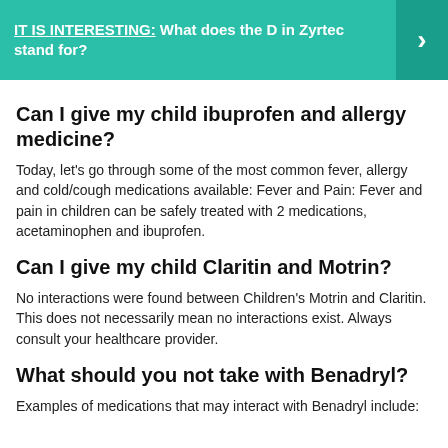[Figure (infographic): Teal banner with text 'IT IS INTERESTING: What does the D in Zyrtec stand for?' and a right-arrow chevron on the right side in a darker teal box.]
Can I give my child ibuprofen and allergy medicine?
Today, let's go through some of the most common fever, allergy and cold/cough medications available: Fever and Pain: Fever and pain in children can be safely treated with 2 medications, acetaminophen and ibuprofen.
Can I give my child Claritin and Motrin?
No interactions were found between Children's Motrin and Claritin. This does not necessarily mean no interactions exist. Always consult your healthcare provider.
What should you not take with Benadryl?
Examples of medications that may interact with Benadryl include: